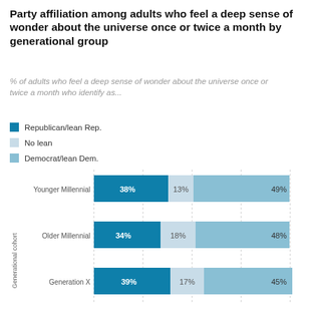Party affiliation among adults who feel a deep sense of wonder about the universe once or twice a month by generational group
% of adults who feel a deep sense of wonder about the universe once or twice a month who identify as...
Republican/lean Rep.
No lean
Democrat/lean Dem.
[Figure (stacked-bar-chart): Party affiliation among adults who feel a deep sense of wonder about the universe once or twice a month by generational group]